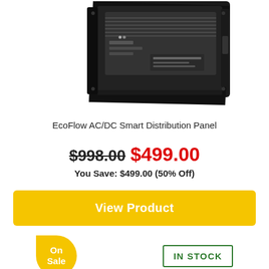[Figure (photo): EcoFlow AC/DC Smart Distribution Panel product photo — a black electronic panel/box with a display screen and vented top, viewed slightly from below-right angle.]
EcoFlow AC/DC Smart Distribution Panel
$998.00  $499.00
You Save: $499.00 (50% Off)
View Product
On
Sale
IN STOCK